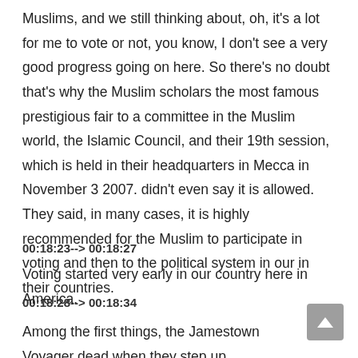Muslims, and we still thinking about, oh, it's a lot for me to vote or not, you know, I don't see a very good progress going on here. So there's no doubt that's why the Muslim scholars the most famous prestigious fair to a committee in the Muslim world, the Islamic Council, and their 19th session, which is held in their headquarters in Mecca in November 3 2007. didn't even say it is allowed. They said, in many cases, it is highly recommended for the Muslim to participate in voting and then to the political system in our in their countries.
00:18:23--> 00:18:27
Voting started very early in our country here in America.
00:18:28--> 00:18:34
Among the first things, the Jamestown Voyager dead when they step up.